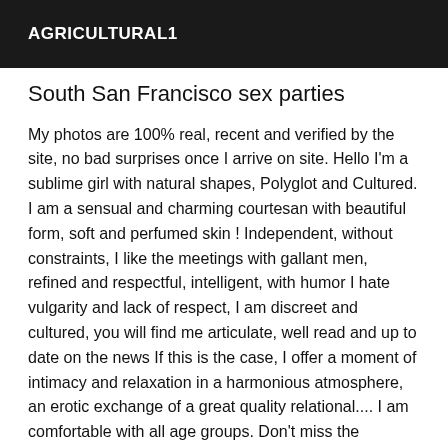AGRICULTURAL1
South San Francisco sex parties
My photos are 100% real, recent and verified by the site, no bad surprises once I arrive on site. Hello I'm a sublime girl with natural shapes, Polyglot and Cultured. I am a sensual and charming courtesan with beautiful form, soft and perfumed skin ! Independent, without constraints, I like the meetings with gallant men, refined and respectful, intelligent, with humor I hate vulgarity and lack of respect, I am discreet and cultured, you will find me articulate, well read and up to date on the news If this is the case, I offer a moment of intimacy and relaxation in a harmonious atmosphere, an erotic exchange of a great quality relational.... I am comfortable with all age groups. Don't miss the opportunity of a different meeting, rich in emotions, that you will not forget... Our meeting will be a nice and exciting experience for both of us. From the first minutes